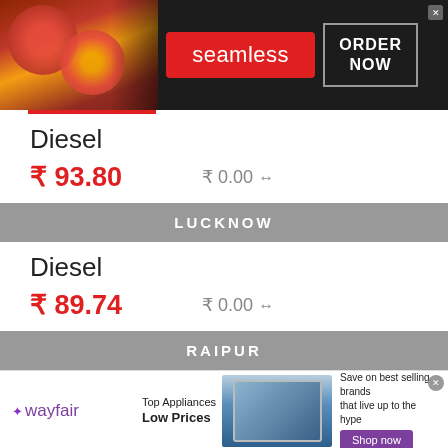[Figure (infographic): Seamless food ordering advertisement banner with pizza image on left, red Seamless badge in center, ORDER NOW button on right, dark background]
Diesel
₹ 93.80    ₹ 0.00 ↔
LUCKNOW
Diesel
₹ 89.74    ₹ 0.00 ↔
RAIPUR
[Figure (infographic): Wayfair advertisement banner: Top Appliances Low Prices, image of stove appliance, Save on best selling brands that live up to the hype, Shop now button]